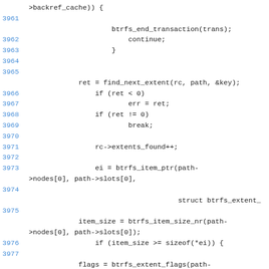[Figure (screenshot): Source code listing showing C code lines 3961-3977 with line numbers in blue and code in monospace font on white background]